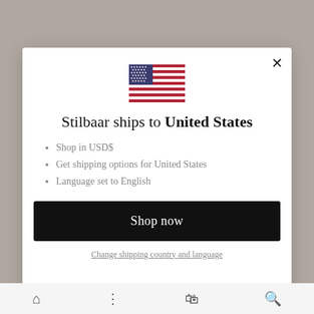[Figure (illustration): US flag emoji/icon displayed centered at top of modal dialog]
Stilbaar ships to United States
Shop in USD$
Get shipping options for United States
Language set to English
Shop now
Change shipping country and language